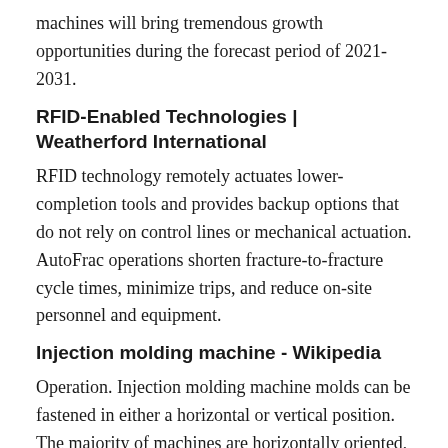machines will bring tremendous growth opportunities during the forecast period of 2021-2031.
RFID-Enabled Technologies | Weatherford International
RFID technology remotely actuates lower-completion tools and provides backup options that do not rely on control lines or mechanical actuation. AutoFrac operations shorten fracture-to-fracture cycle times, minimize trips, and reduce on-site personnel and equipment.
Injection molding machine - Wikipedia
Operation. Injection molding machine molds can be fastened in either a horizontal or vertical position. The majority of machines are horizontally oriented, but vertical machines are used in some niche applications such as insert molding, allowing the machine to take